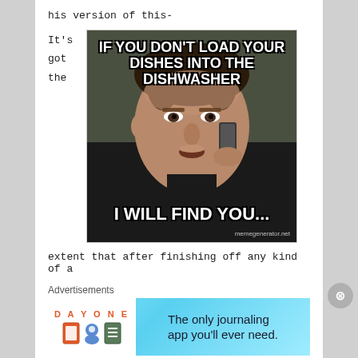his version of this-
It's
got
the
[Figure (photo): Meme image of a man holding a phone to his ear with text: 'IF YOU DON'T LOAD YOUR DISHES INTO THE DISHWASHER' at the top and 'I WILL FIND YOU...' at the bottom. Watermark: memegenerator.net]
extent that after finishing off any kind of a
Advertisements
[Figure (other): DAY ONE app advertisement banner. Text: 'The only journaling app you'll ever need.' with app icons on left side.]